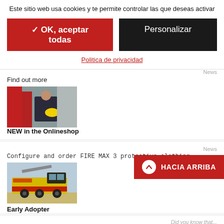Este sitio web usa cookies y te permite controlar las que deseas activar
✓ OK, aceptar todas
Personalizar
Politica de privacidad
News
Find out more
[Figure (photo): Firefighter in dark uniform holding helmet, standing in front of red fire truck]
NEW in the Onlineshop
News
Configure and order FIRE MAX 3 protective clothing
[Figure (photo): Yellow and red airport fire truck (ARFF vehicle) on tarmac with airport buildings in background]
Early Adopter
Did you know that...
Dubai Airports consistently rely on the latest technologies